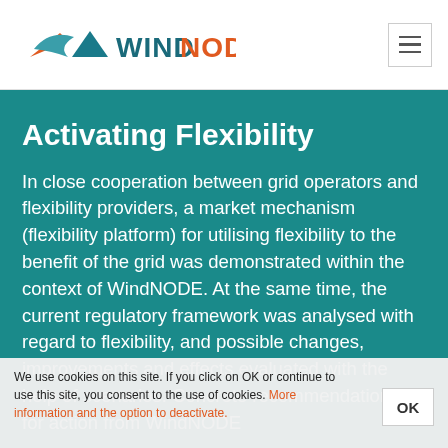WindNODE
Activating Flexibility
In close cooperation between grid operators and flexibility providers, a market mechanism (flexibility platform) for utilising flexibility to the benefit of the grid was demonstrated within the context of WindNODE. At the same time, the current regulatory framework was analysed with regard to flexibility, and possible changes, improvements and effects evaluated with the help of scenarios. Concrete recommendations for action from WindNODE
We use cookies on this site. If you click on OK or continue to use this site, you consent to the use of cookies. More information and the option to deactivate.